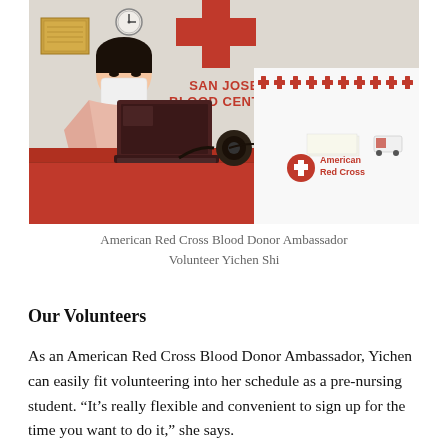[Figure (photo): Photo of Yichen Shi, a young woman wearing a pink shirt and white face mask, sitting at a red desk with a laptop at the San Jose Blood Center. Behind her is the American Red Cross logo and 'San Jose Blood Center' text on the wall. A white panel with red cross pattern and the American Red Cross logo is visible on the right side of the desk.]
American Red Cross Blood Donor Ambassador Volunteer Yichen Shi
Our Volunteers
As an American Red Cross Blood Donor Ambassador, Yichen can easily fit volunteering into her schedule as a pre-nursing student. “It’s really flexible and convenient to sign up for the time you want to do it,” she says.